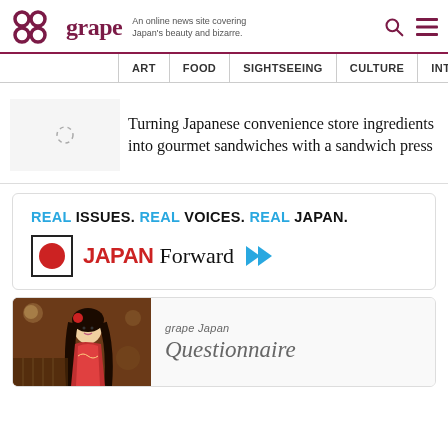grape — An online news site covering Japan's beauty and bizarre.
ART | FOOD | SIGHTSEEING | CULTURE | INTERVIEW
Turning Japanese convenience store ingredients into gourmet sandwiches with a sandwich press
[Figure (illustration): Japan Forward advertisement: REAL ISSUES. REAL VOICES. REAL JAPAN. with Japan Forward logo]
[Figure (illustration): grape Japan Questionnaire card with decorative Japanese woman illustration]